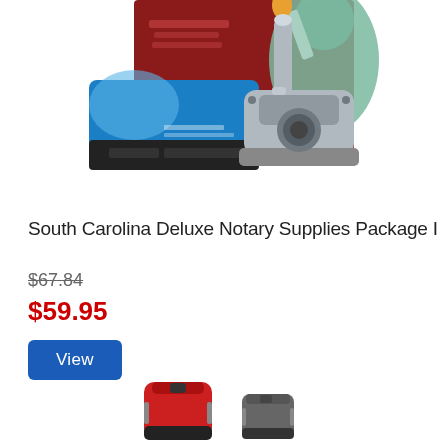[Figure (photo): Product photo showing a notary supplies package including a self-inking rubber stamp with blue/black design and a silver/chrome desk embosser, with a red book and Statue of Liberty image in the background]
South Carolina Deluxe Notary Supplies Package I
$67.84
$59.95
View
[Figure (photo): Bottom portion of product photo showing two compact self-inking stamps, one red and one gray/silver]